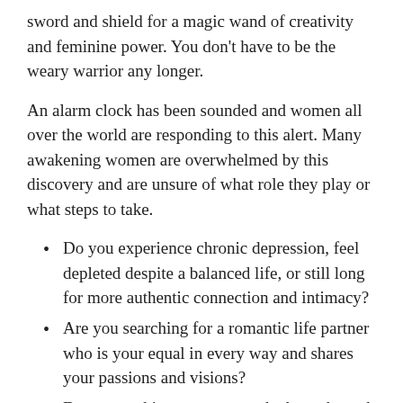sword and shield for a magic wand of creativity and feminine power. You don't have to be the weary warrior any longer.
An alarm clock has been sounded and women all over the world are responding to this alert. Many awakening women are overwhelmed by this discovery and are unsure of what role they play or what steps to take.
Do you experience chronic depression, feel depleted despite a balanced life, or still long for more authentic connection and intimacy?
Are you searching for a romantic life partner who is your equal in every way and shares your passions and visions?
Does something new want to be born through you--a new project or career?